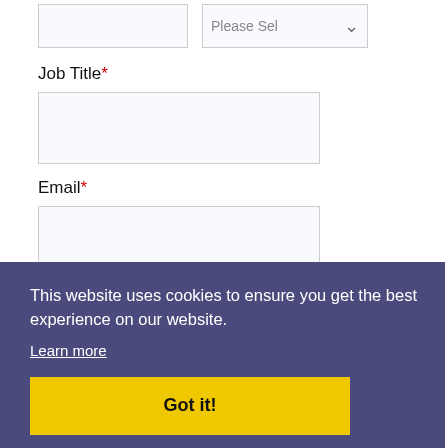Job Title*
Email*
Country*
This website uses cookies to ensure you get the best experience on our website.
Learn more
Got it!
ECGI is committed to protecting your privacy. We never sell your personal information. Read more in our Privacy Policy
SUBMIT